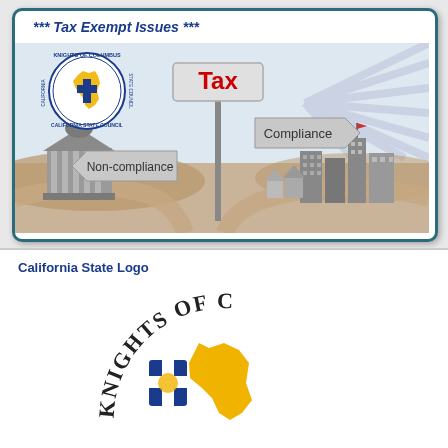*** Tax Exempt Issues ***
[Figure (illustration): Tax compliance vs non-compliance road sign illustration with Knights of Columbus California State Council logo. A road sign post with 'Tax' on top in red, 'Compliance' pointing right, 'Non-compliance' pointing left. Background shows a government building on left (non-compliance path) and a city skyline on right (compliance path). Radiating light rays on the right side.]
California State Logo
[Figure (logo): Knights of Columbus California State Council logo - circular seal with text 'KNIGHTS OF C...' arched at top, with California state shape in gold/yellow and a cross symbol, partially visible at bottom of page.]